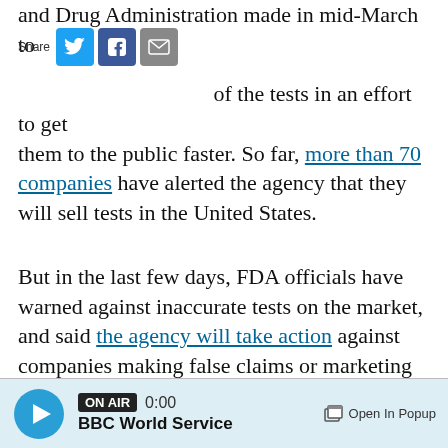and Drug Administration made in mid-March to review of the tests in an effort to get them to the public faster. So far, more than 70 companies have alerted the agency that they will sell tests in the United States.
[Figure (other): Social share bar with Twitter, Facebook, and email icons labeled 'Share']
But in the last few days, FDA officials have warned against inaccurate tests on the market, and said the agency will take action against companies making false claims or marketing tests that are not reliable.
One reason these tests may not be reliable has to do with the populations where they're being used. If the disease is already widespread in a community, the tests are likely to produce better
[Figure (other): BBC audio player bar showing ON AIR badge, 0:00 time, BBC World Service station name, and Open In Popup button]